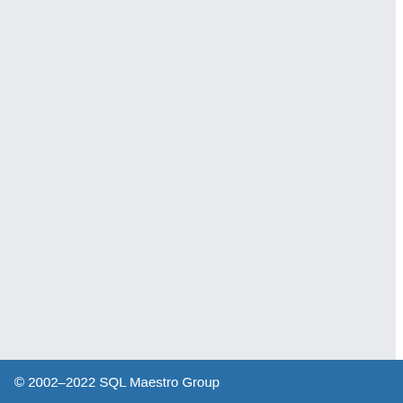Report main menu item. The wizard helps you to type. The report does not include database data
Is code completion implemented in the SQL E
The Editor area is provided for working with the list by pressing the Ctrl+Space key combination
I cannot edit the SQL definition using the SQL
The reason is that you are trying to edit SQL def modify the object definition, use SQL Editor or S
What is the difference between Object Manag
Both Object Manager and Object Browser are to Maestro provides such operations as multiple se between Object Manager, Object Browser and D Object Manager Object Browser represents obje
Is it possible to execute more than one query
SQL Editor provides you with an ability to execu in a separate thread, so all SQLite Maestro feat
© 2002–2022 SQL Maestro Group